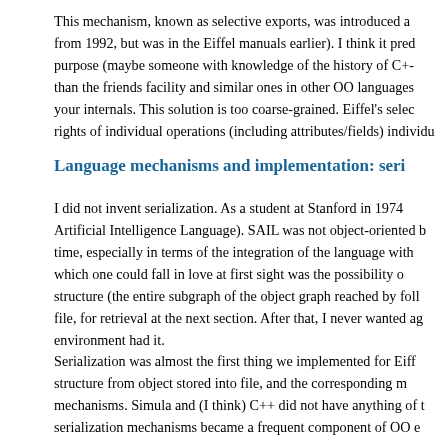This mechanism, known as selective exports, was introduced a from 1992, but was in the Eiffel manuals earlier). I think it pred purpose (maybe someone with knowledge of the history of C+- than the friends facility and similar ones in other OO languages your internals. This solution is too coarse-grained. Eiffel's selec rights of individual operations (including attributes/fields) individu
Language mechanisms and implementation: seri
I did not invent serialization. As a student at Stanford in 1974 Artificial Intelligence Language). SAIL was not object-oriented b time, especially in terms of the integration of the language with which one could fall in love at first sight was the possibility o structure (the entire subgraph of the object graph reached by foll file, for retrieval at the next section. After that, I never wanted ag environment had it.
Serialization was almost the first thing we implemented for Eiff structure from object stored into file, and the corresponding m mechanisms. Simula and (I think) C++ did not have anything of t serialization mechanisms became a frequent component of OO e